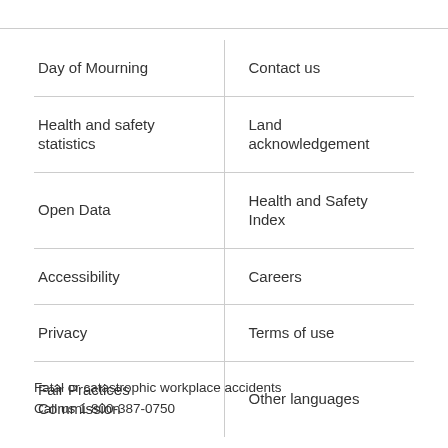| Day of Mourning | Contact us |
| Health and safety statistics | Land acknowledgement |
| Open Data | Health and Safety Index |
| Accessibility | Careers |
| Privacy | Terms of use |
| Fair Practices Commission | Other languages |
Fatal or catastrophic workplace accidents
Call us 1-800-387-0750